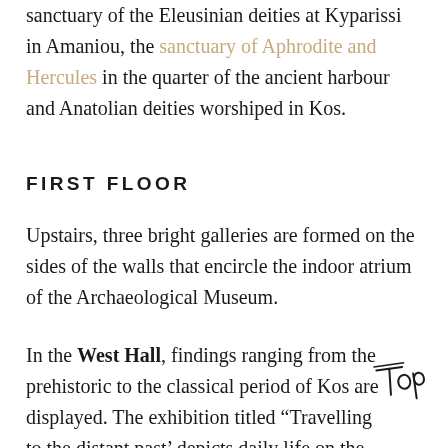sanctuary of the Eleusinian deities at Kyparissi in Amaniou, the sanctuary of Aphrodite and Hercules in the quarter of the ancient harbour and Anatolian deities worshiped in Kos.
FIRST FLOOR
Upstairs, three bright galleries are formed on the sides of the walls that encircle the indoor atrium of the Archaeological Museum.
In the West Hall, findings ranging from the prehistoric to the classical period of Kos are displayed. The exhibition titled “Travelling to the distant past’ depicts daily life on the Acropolis of